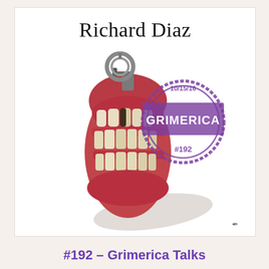[Figure (illustration): Podcast cover art. At the top, 'Richard Diaz' in serif font. Below, a surreal illustration of a hand grenade shaped like a human skull/gums filled with teeth in rows (three rows of teeth). A metallic grenade pin/ring is at the top. A purple rubber stamp overlays the upper-right, reading 'GRIMERICA' in bold uppercase with '10/15/16' above and '#192' below, inside a circle stamp design. A shadow falls bottom-right. A small artist signature appears in the lower-right corner.]
#192 – Grimerica Talks